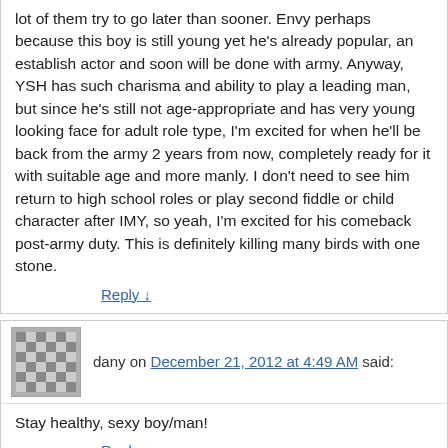lot of them try to go later than sooner. Envy perhaps because this boy is still young yet he's already popular, an establish actor and soon will be done with army. Anyway, YSH has such charisma and ability to play a leading man, but since he's still not age-appropriate and has very young looking face for adult role type, I'm excited for when he'll be back from the army 2 years from now, completely ready for it with suitable age and more manly. I don't need to see him return to high school roles or play second fiddle or child character after IMY, so yeah, I'm excited for his comeback post-army duty. This is definitely killing many birds with one stone.
Reply ↓
dany on December 21, 2012 at 4:49 AM said:
Stay healthy, sexy boy/man!
Reply ↓
jomo on December 21, 2012 at 5:20 AM said:
Sad for us, smart for him.